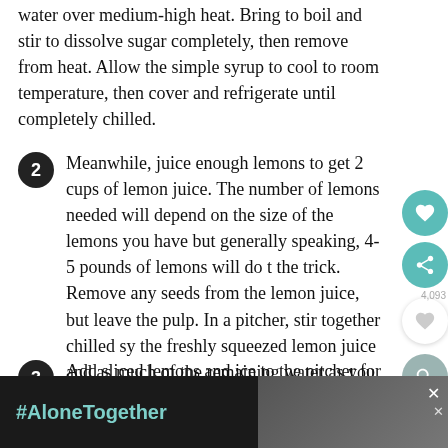water over medium-high heat. Bring to boil and stir to dissolve sugar completely, then remove from heat. Allow the simple syrup to cool to room temperature, then cover and refrigerate until completely chilled.
2. Meanwhile, juice enough lemons to get 2 cups of lemon juice. The number of lemons needed will depend on the size of the lemons you have but generally speaking, 4-5 pounds of lemons will do the trick. Remove any seeds from the lemon juice, but leave the pulp. In a pitcher, stir together chilled syrup, the freshly squeezed lemon juice and as much of the remaining water as you want to get the concentration you like best.
3. Add sliced lemons and ice to the pitcher for presentation.
[Figure (screenshot): Ad banner with #AloneTogether hashtag in teal text on dark background, with partial image of people on the right side]